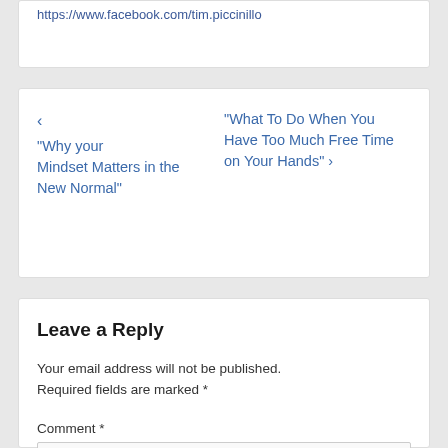https://www.facebook.com/tim.piccinillo
‹ “Why your“What To Do When You Mindset Matters in the Have Too Much Free Time New Normal” on Your Hands” ›
Leave a Reply
Your email address will not be published. Required fields are marked *
Comment *